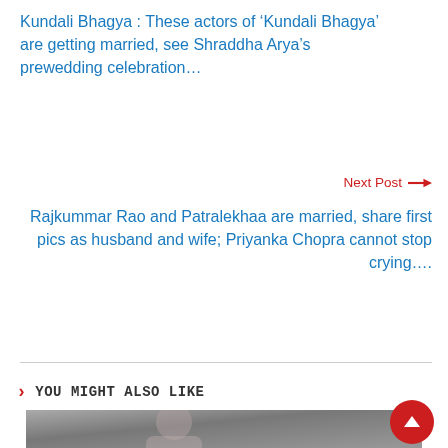Kundali Bhagya : These actors of 'Kundali Bhagya' are getting married, see Shraddha Arya’s prewedding celebration…
Next Post →
Rajkummar Rao and Patralekhaa are married, share first pics as husband and wife; Priyanka Chopra cannot stop crying….
❯ You Might Also Like
[Figure (photo): A woman with dark hair sitting and posing, resting her chin on her hand, wearing a white top, against a grey background]